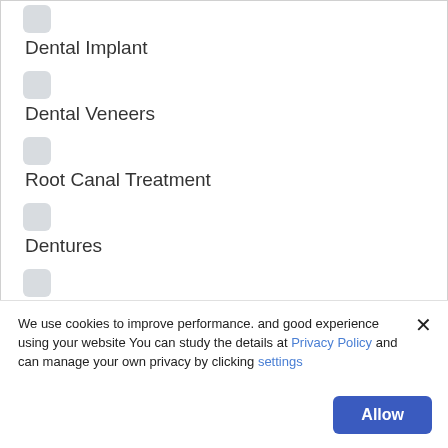Dental Implant
Dental Veneers
Root Canal Treatment
Dentures
Tooth Extractions
Periodontal Treatment
We use cookies to improve performance. and good experience using your website You can study the details at Privacy Policy and can manage your own privacy by clicking settings